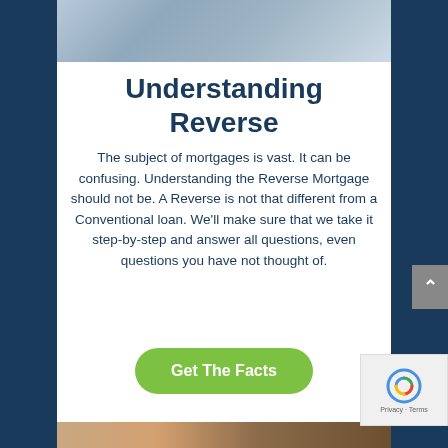[Figure (photo): Partial view of people standing outside a house, cropped to show torsos only]
Understanding Reverse
The subject of mortgages is vast. It can be confusing. Understanding the Reverse Mortgage should not be. A Reverse is not that different from a Conventional loan. We'll make sure that we take it step-by-step and answer all questions, even questions you have not thought of.
[Figure (other): Green rounded button labeled 'Get The Facts']
[Figure (photo): Bottom strip showing partial images of people, cropped at bottom of page]